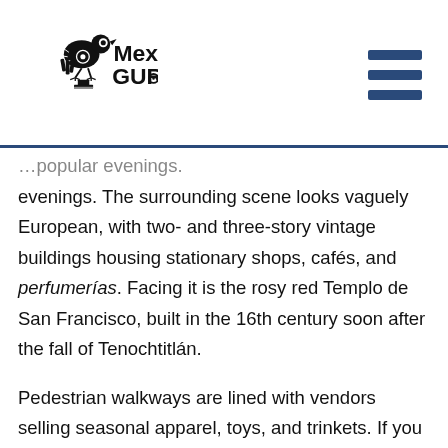Mexico Guru
evenings. The surrounding scene looks vaguely European, with two- and three-story vintage buildings housing stationary shops, cafés, and perfumerías. Facing it is the rosy red Templo de San Francisco, built in the 16th century soon after the fall of Tenochtitlán.

Pedestrian walkways are lined with vendors selling seasonal apparel, toys, and trinkets. If you get tired of walking, tourist trams (tranvías turísticas) provide an introduction to local history and a visit to the hill, Cerro de Las Campanas) where Maximilian and two of his generals were executed. If you prefer to explore on your own, exhibits at the Museo